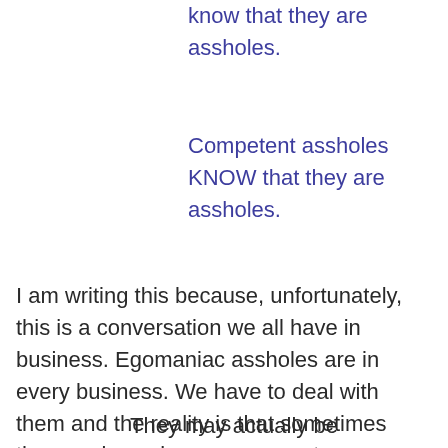know that they are assholes.
Competent assholes KNOW that they are assholes.
I am writing this because, unfortunately, this is a conversation we all have in business. Egomaniac assholes are in every business. We have to deal with them and the reality is that sometimes they are in senior management.
They may actually be